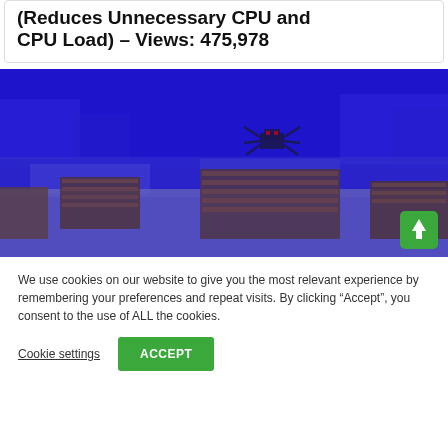(Reduces Unnecessary CPU and CPU Load) – Views: 475,978
[Figure (screenshot): Minecraft-style game screenshot showing a blue-tinted underwater or night scene with blocky terrain, wooden structures, and a spider-like mob character in the center. A green scroll-to-top button is in the bottom right corner.]
We use cookies on our website to give you the most relevant experience by remembering your preferences and repeat visits. By clicking "Accept", you consent to the use of ALL the cookies.
Cookie settings   ACCEPT